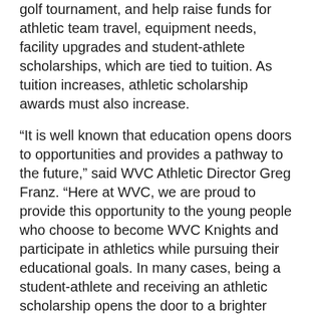golf tournament, and help raise funds for athletic team travel, equipment needs, facility upgrades and student-athlete scholarships, which are tied to tuition. As tuition increases, athletic scholarship awards must also increase.
“It is well known that education opens doors to opportunities and provides a pathway to the future,” said WVC Athletic Director Greg Franz. “Here at WVC, we are proud to provide this opportunity to the young people who choose to become WVC Knights and participate in athletics while pursuing their educational goals. In many cases, being a student-athlete and receiving an athletic scholarship opens the door to a brighter future.”
“Supporting Knight Athletics helps sustain WVC’s future as well as the athletes themselves,” said WVC President Dr. Jim Richardson. “Sports and our athletes significantly enhance the vitality of college life at WVC for all students, creating a stronger and more vibrant learning environment.”
WVC Athletic Booster Club membership levels start at $50 and increase to $1,000, with benefits such as Knights